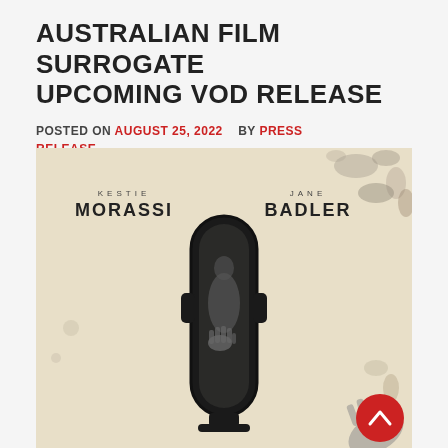AUSTRALIAN FILM SURROGATE UPCOMING VOD RELEASE
POSTED ON AUGUST 25, 2022   BY PRESS RELEASE
[Figure (photo): Movie poster for the Australian film 'Surrogate' featuring actor names KESTIE MORASSI and JANE BADLER at top, with a dark mirror at center showing a silhouetted figure pressing a hand against it, on a cream/beige textured background. A red scroll-to-top button appears in the bottom right corner.]